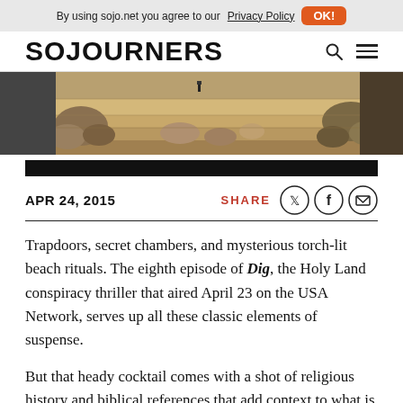By using sojo.net you agree to our Privacy Policy  OK!
SOJOURNERS
[Figure (photo): Archaeological excavation site showing ancient stone ruins and rubble, viewed from above.]
APR 24, 2015
Trapdoors, secret chambers, and mysterious torch-lit beach rituals. The eighth episode of Dig, the Holy Land conspiracy thriller that aired April 23 on the USA Network, serves up all these classic elements of suspense.
But that heady cocktail comes with a shot of religious history and biblical references that add context to what is already a complex plot involving cloned high priests,